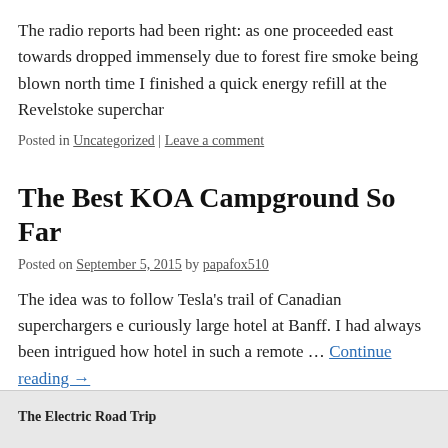The radio reports had been right: as one proceeded east towards dropped immensely due to forest fire smoke being blown north time I finished a quick energy refill at the Revelstoke superchar
Posted in Uncategorized | Leave a comment
The Best KOA Campground So Far
Posted on September 5, 2015 by papafox510
The idea was to follow Tesla's trail of Canadian superchargers e curiously large hotel at Banff. I had always been intrigued how hotel in such a remote … Continue reading →
Posted in Uncategorized | Leave a comment
The Electric Road Trip